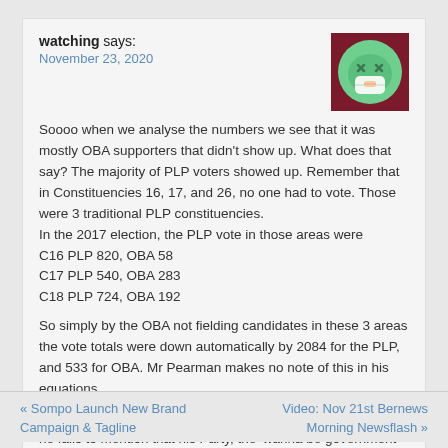watching says:
November 23, 2020
[Figure (illustration): Avatar icon showing an animated green face with a mask, on a dark red background]
Soooo when we analyse the numbers we see that it was mostly OBA supporters that didn't show up. What does that say? The majority of PLP voters showed up. Remember that in Constituencies 16, 17, and 26, no one had to vote. Those were 3 traditional PLP constituencies.
In the 2017 election, the PLP vote in those areas were
C16 PLP 820, OBA 58
C17 PLP 540, OBA 283
C18 PLP 724, OBA 192
So simply by the OBA not fielding candidates in these 3 areas the vote totals were down automatically by 2084 for the PLP, and 533 for OBA. Mr Pearman makes no note of this in his equations.
He says that over 20000 voters didn't vote. He is correct but he fails to mention that his Party, the 'wanna be government in waiting', actually denied 3673 people their right to vote by not running candidates.
« Sompo Launch New Brand Campaign & Tagline
Video: Nov 21st Bernews Morning Newsflash »